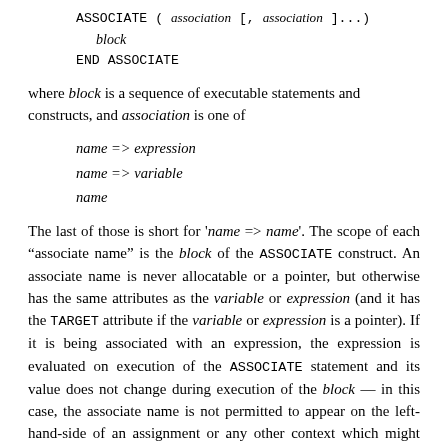ASSOCIATE ( association [, association ]... )
  block
END ASSOCIATE
where block is a sequence of executable statements and constructs, and association is one of
name => expression
name => variable
name
The last of those is short for 'name => name'. The scope of each "associate name" is the block of the ASSOCIATE construct. An associate name is never allocatable or a pointer, but otherwise has the same attributes as the variable or expression (and it has the TARGET attribute if the variable or expression is a pointer). If it is being associated with an expression, the expression is evaluated on execution of the ASSOCIATE statement and its value does not change during execution of the block — in this case, the associate name is not permitted to appear on the left-hand-side of an assignment or any other context which might change its value. If it is being associated with a variable, the associate name can be treated as a variable.
The type of the associate name is that of the expression or variable with which it is associated. For example, in